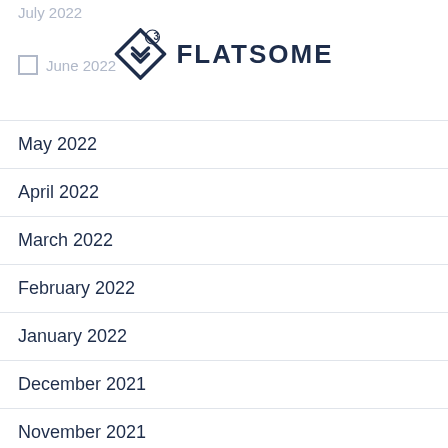July 2022
June 2022
[Figure (logo): Flatsome logo with diamond/arrow icon and superscript 3, text FLATSOME in bold dark navy]
May 2022
April 2022
March 2022
February 2022
January 2022
December 2021
November 2021
October 2021
September 2021
August 2021